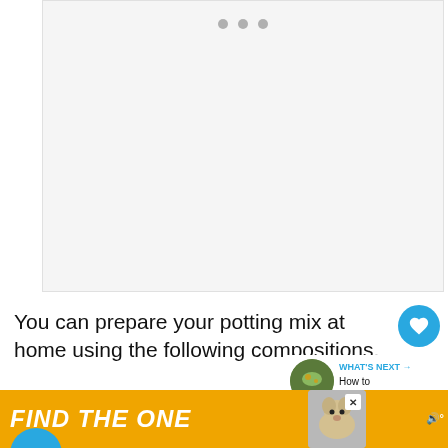[Figure (photo): Light gray image placeholder area with three gray dots at the top center, representing a loading or placeholder image]
You can prepare your potting mix at home using the following compositions.
A part of perlite
e part peat moss
[Figure (screenshot): WHAT'S NEXT arrow label with thumbnail of insect on leaf and text 'How to Identify Inse...']
[Figure (photo): Advertisement banner: FIND THE ONE with dog photo, close button, and Tinder-like app logo]